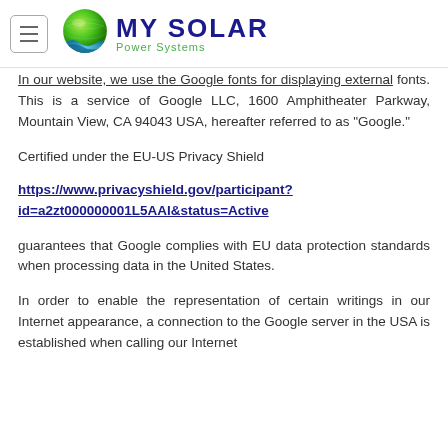My Solar Power Systems
In our website, we use the Google fonts for displaying external fonts. This is a service of Google LLC, 1600 Amphitheater Parkway, Mountain View, CA 94043 USA, hereafter referred to as “Google.”
Certified under the EU-US Privacy Shield
https://www.privacyshield.gov/participant?id=a2zt000000001L5AAI&status=Active
guarantees that Google complies with EU data protection standards when processing data in the United States.
In order to enable the representation of certain writings in our Internet appearance, a connection to the Google server in the USA is established when calling our Internet